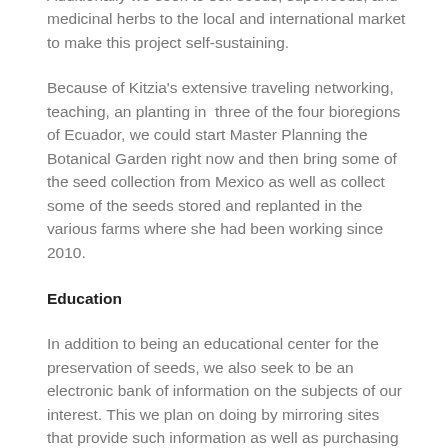with an emphasis on food and medicine.
Additionally we seek to sell seeds, superfoods, and medicinal herbs to the local and international market to make this project self-sustaining.
Because of Kitzia's extensive traveling networking, teaching, an planting in  three of the four bioregions of Ecuador, we could start Master Planning the Botanical Garden right now and then bring some of the seed collection from Mexico as well as collect some of the seeds stored and replanted in the various farms where she had been working since 2010.
Education
In addition to being an educational center for the preservation of seeds, we also seek to be an electronic bank of information on the subjects of our interest. This we plan on doing by mirroring sites that provide such information as well as purchasing many books related to